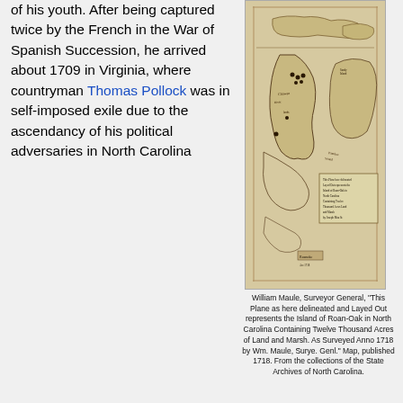of his youth. After being captured twice by the French in the War of Spanish Succession, he arrived about 1709 in Virginia, where countryman Thomas Pollock was in self-imposed exile due to the ascendancy of his political adversaries in North Carolina
[Figure (map): Historical hand-drawn map of the Island of Roan-Oak in North Carolina, surveyed Anno 1718 by William Maule, Surveyor General. Shows coastline, marshes, and handwritten annotations on aged parchment.]
William Maule, Surveyor General, "This Plane as here delineated and Layed Out represents the Island of Roan-Oak in North Carolina Containing Twelve Thousand Acres of Land and Marsh. As Surveyed Anno 1718 by Wm. Maule, Surye. Genl." Map, published 1718. From the collections of the State Archives of North Carolina.